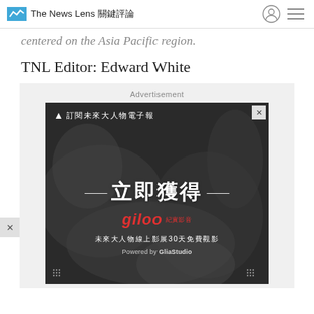The News Lens 關鍵評論
centered on the Asia Pacific region.
TNL Editor: Edward White
[Figure (screenshot): Advertisement banner: dark background with Chinese text '訂閱未來大人物電子報' at top, large white text '立即獲得' in middle, giloo logo in red below, Chinese text '未來大人物線上影展30天免費觀影', and 'Powered by GliaStudio' at bottom. A close button (×) in top right. Side × button on left edge.]